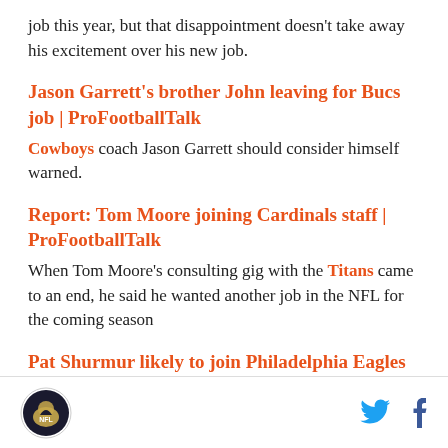job this year, but that disappointment doesn't take away his excitement over his new job.
Jason Garrett's brother John leaving for Bucs job | ProFootballTalk
Cowboys coach Jason Garrett should consider himself warned.
Report: Tom Moore joining Cardinals staff | ProFootballTalk
When Tom Moore's consulting gig with the Titans came to an end, he said he wanted another job in the NFL for the coming season
Pat Shurmur likely to join Philadelphia Eagles as
Logo | Twitter | Facebook